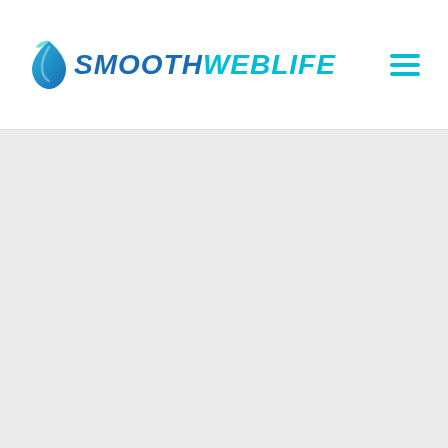SmoothWebLife
[Figure (other): Light gray empty content area below the SmoothWebLife website header]